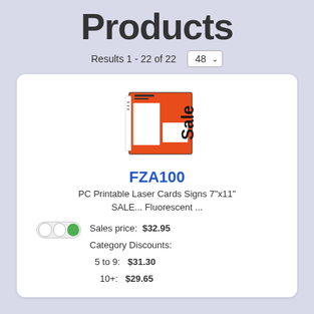Products
Results 1 - 22 of 22   48
[Figure (photo): Product image: a red fluorescent sale sign card 7x11 inch, printable, showing 'Sale' text in bold on orange/red background with white price tag areas]
FZA100
PC Printable Laser Cards Signs 7"x11" SALE... Fluorescent ...
Sales price: $32.95
Category Discounts:
5 to 9: $31.30
10+: $29.65